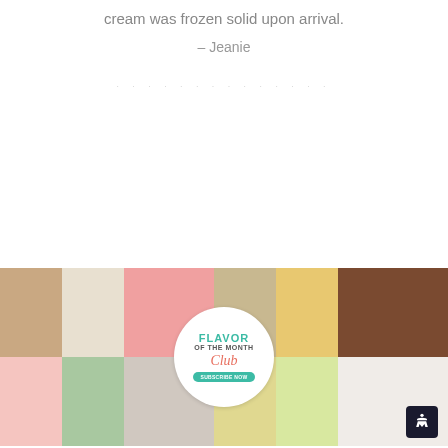cream was frozen solid upon arrival.
– Jeanie
[Figure (photo): A collage banner of ice cream photos with a central circular badge reading 'Flavor of the Month Club']